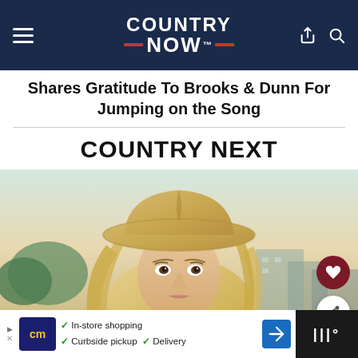COUNTRY NOW
Shares Gratitude To Brooks & Dunn For Jumping on the Song
COUNTRY NEXT
[Figure (photo): Young blonde woman wearing a gold/tan cowboy hat, with long blonde hair, looking at the camera with a soft expression. Background shows blurred outdoor urban/nature setting with buildings and trees.]
In-store shopping  Curbside pickup  Delivery